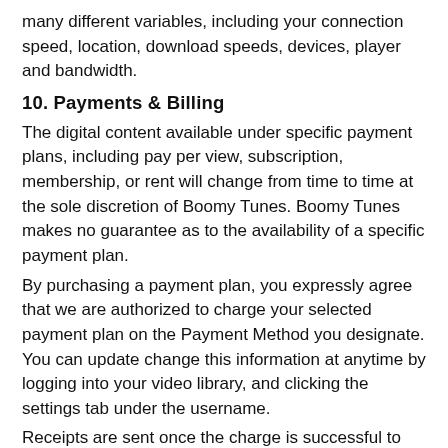many different variables, including your connection speed, location, download speeds, devices, player and bandwidth.
10. Payments & Billing
The digital content available under specific payment plans, including pay per view, subscription, membership, or rent will change from time to time at the sole discretion of Boomy Tunes. Boomy Tunes makes no guarantee as to the availability of a specific payment plan.
By purchasing a payment plan, you expressly agree that we are authorized to charge your selected payment plan on the Payment Method you designate. You can update change this information at anytime by logging into your video library, and clicking the settings tab under the username.
Receipts are sent once the charge is successful to the registered email account. Your subscription will continue in effect unless and until you cancel your subscription or we terminate it. You must cancel your payment plan